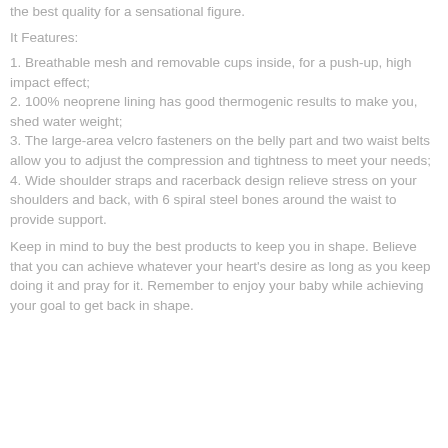the best quality for a sensational figure.
It Features:
1. Breathable mesh and removable cups inside, for a push-up, high impact effect;
2. 100% neoprene lining has good thermogenic results to make you, shed water weight;
3. The large-area velcro fasteners on the belly part and two waist belts allow you to adjust the compression and tightness to meet your needs;
4. Wide shoulder straps and racerback design relieve stress on your shoulders and back, with 6 spiral steel bones around the waist to provide support.
Keep in mind to buy the best products to keep you in shape. Believe that you can achieve whatever your heart's desire as long as you keep doing it and pray for it. Remember to enjoy your baby while achieving your goal to get back in shape.